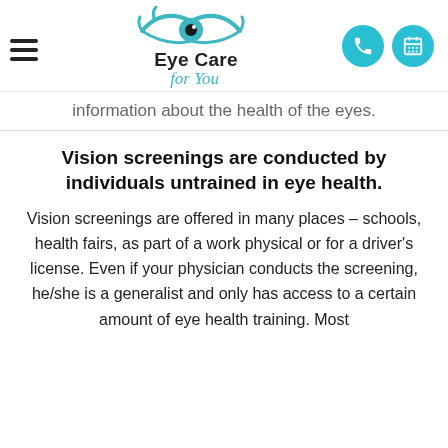[Figure (logo): Eye Care For You logo with teal eye graphic, hamburger menu icon on left, phone and calendar icon buttons on right]
information about the health of the eyes.
Vision screenings are conducted by individuals untrained in eye health.
Vision screenings are offered in many places – schools, health fairs, as part of a work physical or for a driver's license. Even if your physician conducts the screening, he/she is a generalist and only has access to a certain amount of eye health training. Most